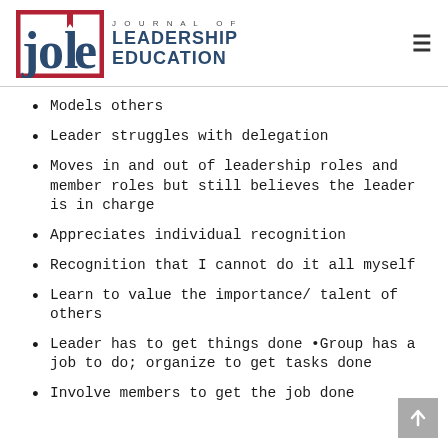[Figure (logo): Journal of Leadership Education (JOLE) logo with red square border around stylized 'jole' letters, and text 'JOURNAL OF LEADERSHIP EDUCATION' to the right]
Models others
Leader struggles with delegation
Moves in and out of leadership roles and member roles but still believes the leader is in charge
Appreciates individual recognition
Recognition that I cannot do it all myself
Learn to value the importance/ talent of others
Leader has to get things done •Group has a job to do; organize to get tasks done
Involve members to get the job done